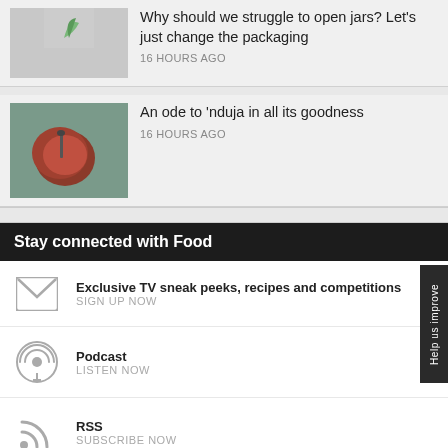[Figure (photo): Thumbnail image partially cropped at top, with leaf/plant icon]
Why should we struggle to open jars? Let's just change the packaging
16 HOURS AGO
[Figure (photo): Thumbnail photo of 'nduja in a bowl with spoon]
An ode to 'nduja in all its goodness
16 HOURS AGO
Stay connected with Food
Exclusive TV sneak peeks, recipes and competitions
SIGN UP NOW
Podcast
LISTEN NOW
RSS
SUBSCRIBE NOW
IN SOCIAL
Subscribe
Facebook
Follow